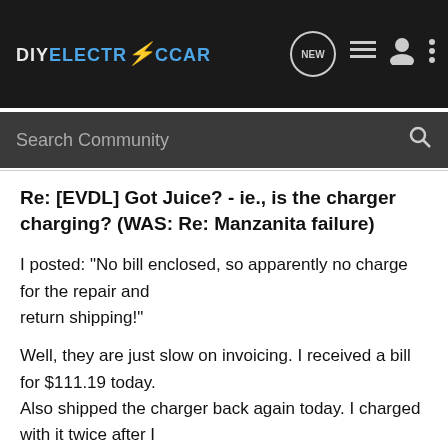DIYELECTRICCAR
Re: [EVDL] Got Juice? - ie., is the charger charging? (WAS: Re: Manzanita failure)
I posted: "No bill enclosed, so apparently no charge for the repair and return shipping!"
Well, they are just slow on invoicing. I received a bill for $111.19 today. Also shipped the charger back again today. I charged with it twice after I received it back. Then I turned on the switch and nothing happened. No lights, no fan, nothing. Manzanita said it sounded like the power supply,